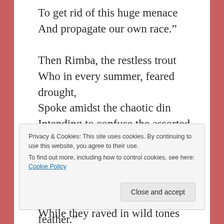To get rid of this huge menace
And propagate our own race."

Then Rimba, the restless trout
Who in every summer, feared drought,
Spoke amidst the chaotic din
Intending to confuse the assorted fins:
“But Shiney, what can be done?
The fellow weighs more than a ton
And all of us taken together
Would seem to him, light as a feather.”
Privacy & Cookies: This site uses cookies. By continuing to use this website, you agree to their use.
To find out more, including how to control cookies, see here: Cookie Policy
While they raved in wild tones